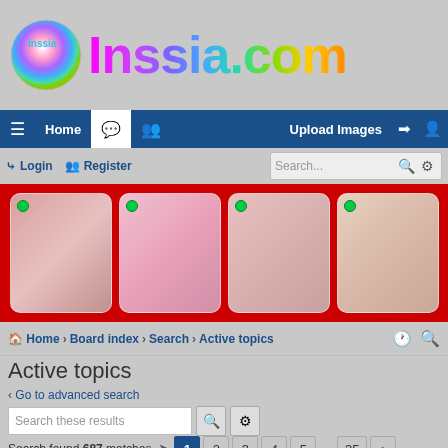[Figure (logo): Inssia.com colorful rainbow logo with circular gradient icon]
Home | [chat icon] | [users icon] | Upload Images | [login icon] | [register icon]
Login   Register   Search...
[Figure (photo): Four adult content thumbnail images in a red banner strip]
Home > Board index > Search > Active topics
Active topics
< Go to advanced search
Search these results
Search found 687 matches  1 2 3 4 5 ... 35 >
Topics